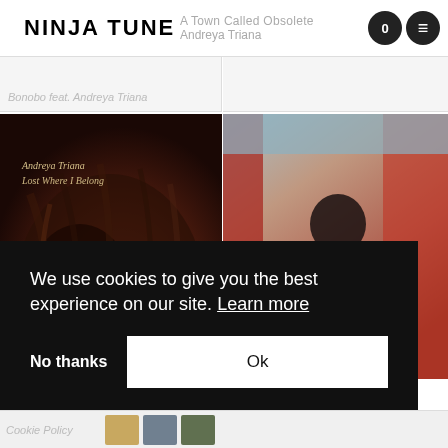NINJA TUNE
A Town Called Obsolete   Andreya Triana
Bonobo feat. Andreya Triana
[Figure (photo): Album cover for 'Lost Where I Belong' by Andreya Triana — close-up of woman with curly hair in warm brown tones, cursive text overlay reads 'Andreya Triana / Lost Where I Belong']
[Figure (photo): Photo of a person with afro hair seen from behind, standing in front of pink/red fabric curtains in muted vintage tones]
We use cookies to give you the best experience on our site. Learn more
No thanks
Ok